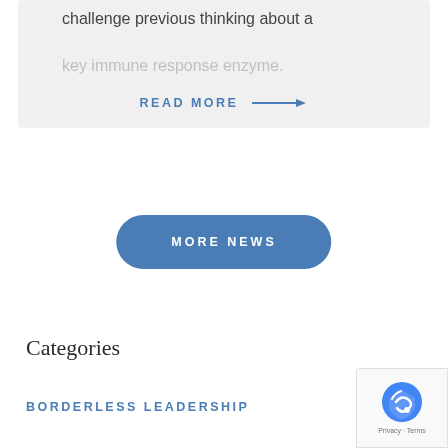challenge previous thinking about a key immune response enzyme.
READ MORE →
MORE NEWS
Categories
BORDERLESS LEADERSHIP